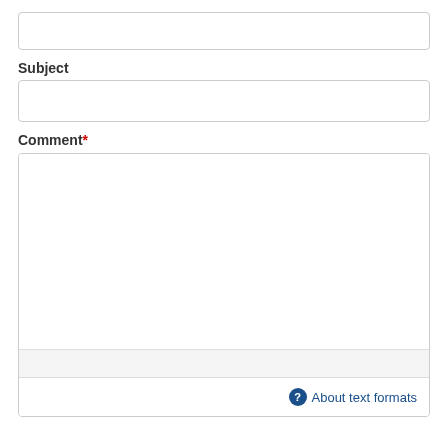[Figure (other): Empty text input field (top, partially visible)]
Subject
[Figure (other): Empty text input field for Subject]
Comment*
[Figure (other): Large textarea for Comment with toolbar row and footer row containing 'About text formats' link with help icon]